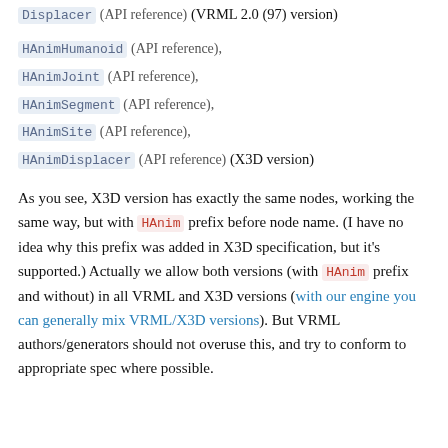Displacer (API reference) (VRML 2.0 (97) version)
HAnimHumanoid (API reference),
HAnimJoint (API reference),
HAnimSegment (API reference),
HAnimSite (API reference),
HAnimDisplacer (API reference) (X3D version)
As you see, X3D version has exactly the same nodes, working the same way, but with HAnim prefix before node name. (I have no idea why this prefix was added in X3D specification, but it's supported.) Actually we allow both versions (with HAnim prefix and without) in all VRML and X3D versions (with our engine you can generally mix VRML/X3D versions). But VRML authors/generators should not overuse this, and try to conform to appropriate spec where possible.